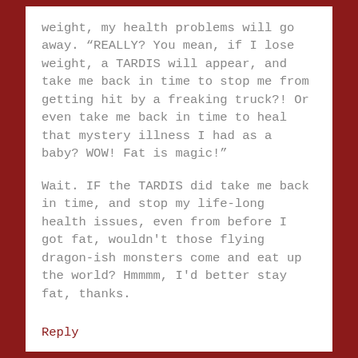weight, my health problems will go away. "REALLY? You mean, if I lose weight, a TARDIS will appear, and take me back in time to stop me from getting hit by a freaking truck?! Or even take me back in time to heal that mystery illness I had as a baby? WOW! Fat is magic!"
Wait. IF the TARDIS did take me back in time, and stop my life-long health issues, even from before I got fat, wouldn't those flying dragon-ish monsters come and eat up the world? Hmmmm, I'd better stay fat, thanks.
Reply